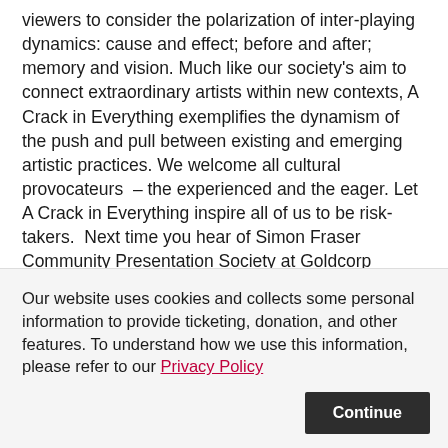viewers to consider the polarization of inter-playing dynamics: cause and effect; before and after; memory and vision. Much like our society's aim to connect extraordinary artists within new contexts, A Crack in Everything exemplifies the dynamism of the push and pull between existing and emerging artistic practices. We welcome all cultural provocateurs  – the experienced and the eager. Let A Crack in Everything inspire all of us to be risk-takers.  Next time you hear of Simon Fraser Community Presentation Society at Goldcorp Centre for Arts we will have re-branded with a more user friendly
Our website uses cookies and collects some personal information to provide ticketing, donation, and other features. To understand how we use this information, please refer to our Privacy Policy